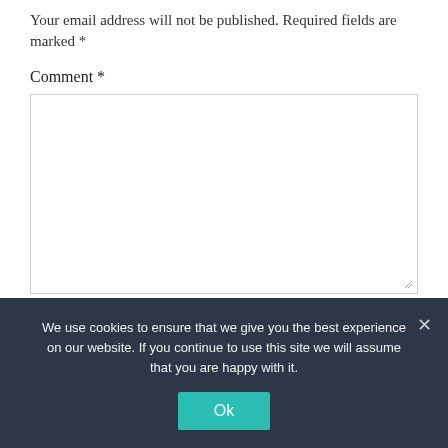Your email address will not be published. Required fields are marked *
Comment *
[Comment text area]
Name *
We use cookies to ensure that we give you the best experience on our website. If you continue to use this site we will assume that you are happy with it.